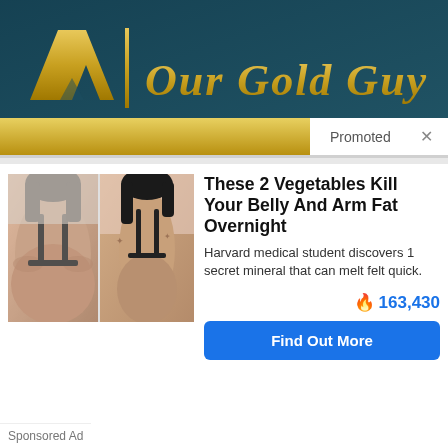[Figure (photo): Our Gold Guy logo banner — teal background with gold AM logo and 'Our Gold Guy' text. Has 'Promoted X' label at bottom right.]
[Figure (photo): Before and after side-by-side photos of a woman's back, showing body transformation.]
These 2 Vegetables Kill Your Belly And Arm Fat Overnight
Harvard medical student discovers 1 secret mineral that can melt felt quick.
🔥 163,430
Find Out More
Sponsored Ad